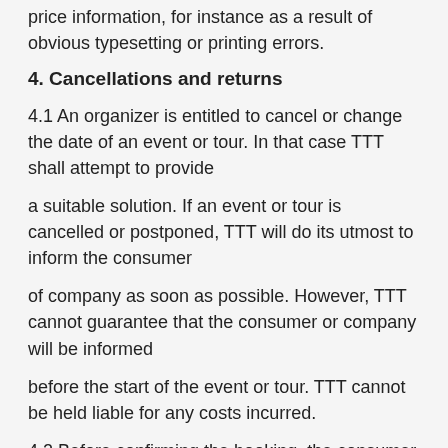price information, for instance as a result of obvious typesetting or printing errors.
4. Cancellations and returns
4.1 An organizer is entitled to cancel or change the date of an event or tour. In that case TTT shall attempt to provide
a suitable solution. If an event or tour is cancelled or postponed, TTT will do its utmost to inform the consumer
of company as soon as possible. However, TTT cannot guarantee that the consumer or company will be informed
before the start of the event or tour. TTT cannot be held liable for any costs incurred.
4.2 Before confirming the booking, the consumer or company always has to check carefully the booked
tickets. TTT is not obliged to refund or exchange tickets once